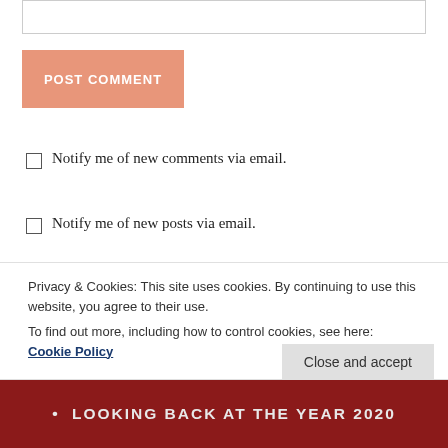[input box]
POST COMMENT
Notify me of new comments via email.
Notify me of new posts via email.
[Figure (photo): Red Christmas card with 'MERRY' text in gold, on a grey background. 'PREVIOUS' label partially visible on the left.]
Privacy & Cookies: This site uses cookies. By continuing to use this website, you agree to their use.
To find out more, including how to control cookies, see here: Cookie Policy
Close and accept
• LOOKING BACK AT THE YEAR 2020